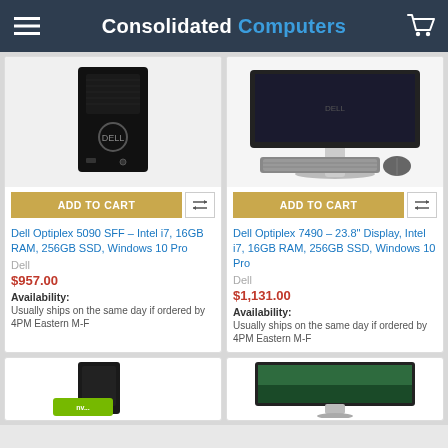Consolidated Computers
[Figure (photo): Dell Optiplex 5090 SFF desktop tower computer (black)]
ADD TO CART
Dell Optiplex 5090 SFF – Intel i7, 16GB RAM, 256GB SSD, Windows 10 Pro
Dell
$957.00
Availability:
Usually ships on the same day if ordered by 4PM Eastern M-F
[Figure (photo): Dell Optiplex 7490 all-in-one desktop with 23.8 inch display, keyboard and mouse]
ADD TO CART
Dell Optiplex 7490 – 23.8" Display, Intel i7, 16GB RAM, 256GB SSD, Windows 10 Pro
Dell
$1,131.00
Availability:
Usually ships on the same day if ordered by 4PM Eastern M-F
[Figure (photo): Small form factor black desktop computer with Nvidia logo badge]
[Figure (photo): Desktop computer with monitor showing landscape wallpaper]